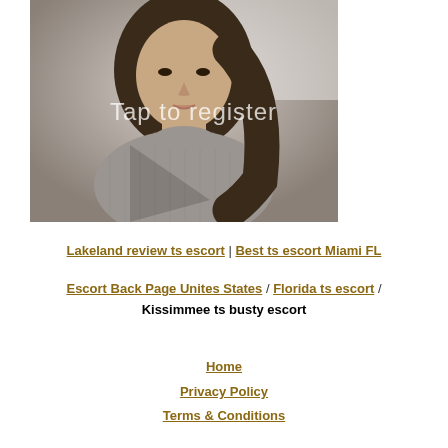[Figure (photo): A woman with dark hair wearing a gray turtleneck sweater, taking a selfie. Text overlay reads 'Tap to register'.]
Lakeland review ts escort | Best ts escort Miami FL
Escort Back Page Unites States / Florida ts escort / Kissimmee ts busty escort
Home
Privacy Policy
Terms & Conditions